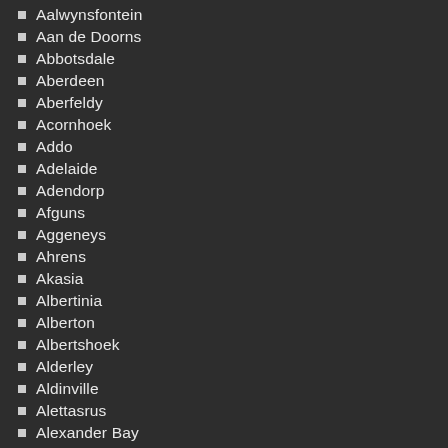Aalwynsfontein
Aan de Doorns
Abbotsdale
Aberdeen
Aberfeldy
Acornhoek
Addo
Adelaide
Adendorp
Afguns
Aggeneys
Ahrens
Akasia
Albertinia
Alberton
Albertshoek
Alderley
Aldinville
Alettasrus
Alexander Bay
Alexandra
Alexandria
Alice
Alicedale
Aliwal North
Allandale
Allanridge
Alldays
Alon